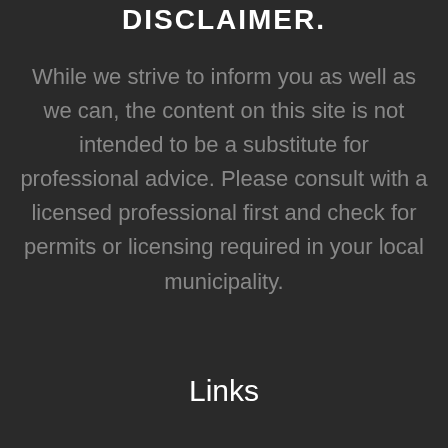DISCLAIMER.
While we strive to inform you as well as we can, the content on this site is not intended to be a substitute for professional advice. Please consult with a licensed professional first and check for permits or licensing required in your local municipality.
Links